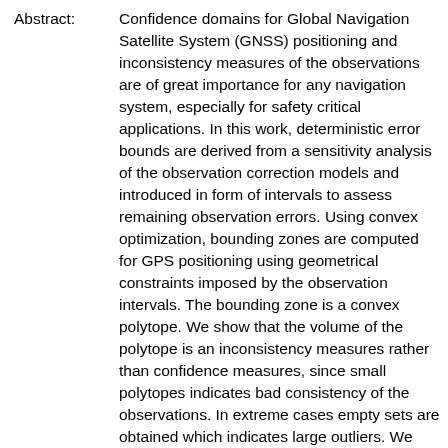Abstract: Confidence domains for Global Navigation Satellite System (GNSS) positioning and inconsistency measures of the observations are of great importance for any navigation system, especially for safety critical applications. In this work, deterministic error bounds are derived from a sensitivity analysis of the observation correction models and introduced in form of intervals to assess remaining observation errors. Using convex optimization, bounding zones are computed for GPS positioning using geometrical constraints imposed by the observation intervals. The bounding zone is a convex polytope. We show that the volume of the polytope is an inconsistency measures rather than confidence measures, since small polytopes indicates bad consistency of the observations. In extreme cases empty sets are obtained which indicates large outliers. We explain how the shape and the volume of the polytope are related to the positioning geometry and how observations of maximum impact can be revealed. In a first attempt, a point position can by associated to the solution set by its barycenter. However, we show that this assignment has based to be